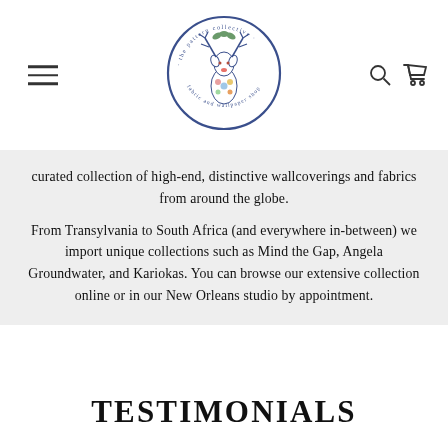[Figure (logo): The Pattern Collective fabric and wallpaper shop circular logo with deer illustration and floral elements]
curated collection of high-end, distinctive wallcoverings and fabrics from around the globe.

From Transylvania to South Africa (and everywhere in-between) we import unique collections such as Mind the Gap, Angela Groundwater, and Kariokas. You can browse our extensive collection online or in our New Orleans studio by appointment.
TESTIMONIALS